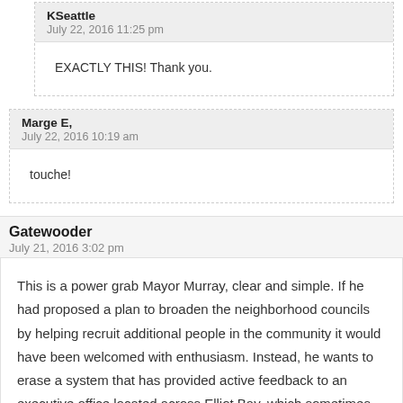KSeattle
July 22, 2016 11:25 pm
EXACTLY THIS!  Thank you.
Marge E,
July 22, 2016 10:19 am
touche!
Gatewooder
July 21, 2016 3:02 pm
This is a power grab Mayor Murray, clear and simple.  If he had proposed a plan to broaden the neighborhood councils by helping recruit additional people in the community it would have been welcomed with enthusiasm.  Instead, he wants to erase a system that has provided active feedback to an executive office located across Elliot Bay, which sometimes seems as large as an ocean to